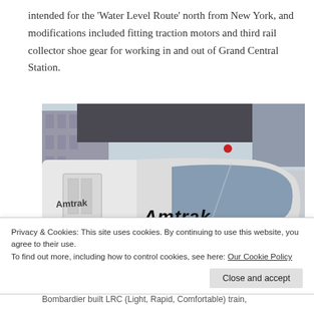intended for the 'Water Level Route' north from New York, and modifications included fitting traction motors and third rail collector shoe gear for working in and out of Grand Central Station.
[Figure (photo): Photograph of an Amtrak train (LRC locomotive) at a station or yard, showing the front and side of the white train with red and blue stripes and the Amtrak logo on the side. Urban buildings are visible in the background.]
Privacy & Cookies: This site uses cookies. By continuing to use this website, you agree to their use.
To find out more, including how to control cookies, see here: Our Cookie Policy
Close and accept
Bombardier built LRC (Light, Rapid, Comfortable) train,